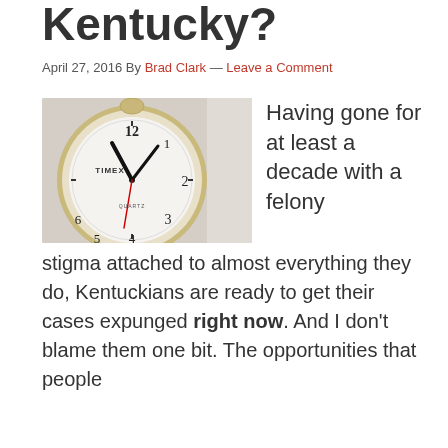Kentucky?
April 27, 2016 By Brad Clark — Leave a Comment
[Figure (photo): Close-up of a Timex Quartz analog clock face showing numbers 12, 1, 2, 3, 4, 5 and clock hands, gold-toned frame against light background]
Having gone for at least a decade with a felony stigma attached to almost everything they do, Kentuckians are ready to get their cases expunged right now. And I don't blame them one bit. The opportunities that people